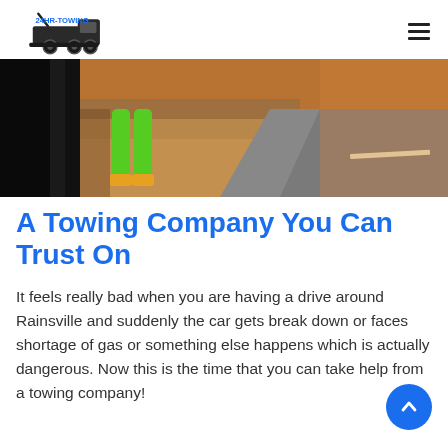24HR-TOWING
[Figure (photo): A person in bright green clothing standing next to a vehicle on a road, with gravel and road surface visible]
A Towing Company You Can Trust On
It feels really bad when you are having a drive around Rainsville and suddenly the car gets break down or faces shortage of gas or something else happens which is actually dangerous. Now this is the time that you can take help from a towing company!